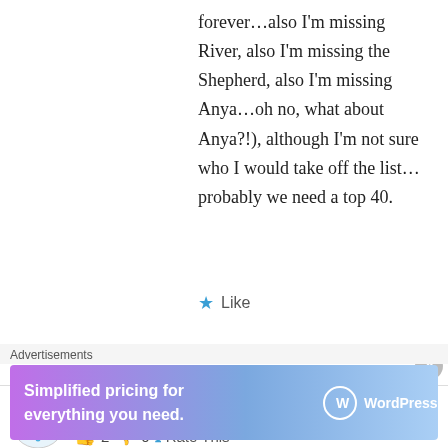forever…also I'm missing River, also I'm missing the Shepherd, also I'm missing Anya…oh no, what about Anya?!), although I'm not sure who I would take off the list…probably we need a top 40.
Like
↳ Reply
Jack Dow on 08/02/2012 at 12:13 am
👍 2 👎 0 ℹ Rate This
I really can't believe you excluded Wesley Wyndham Price… I had him pegged for number